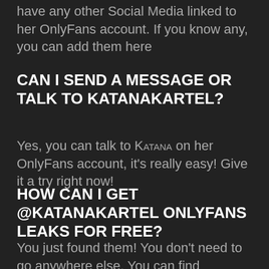have any other Social Media linked to her OnlyFans account. If you know any, you can add them here
CAN I SEND A MESSAGE OR TALK TO KATANAKARTEL?
Yes, you can talk to KATANA on her OnlyFans account, it's really easy! Give it a try right now!
HOW CAN I GET @KATANAKARTEL ONLYFANS LEAKS FOR FREE?
You just found them! You don't need to go anywhere else. You can find Download Link below and you will get